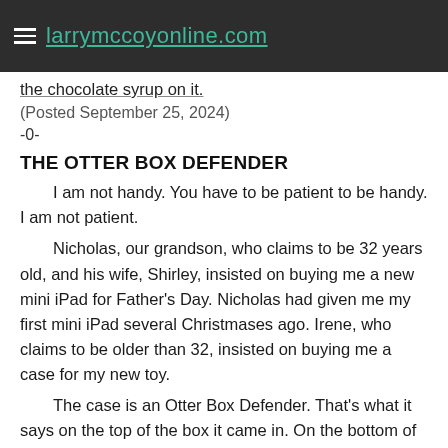larrymccoyonline.com
the chocolate syrup on it.
(Posted September 25, 2024)
-0-
THE OTTER BOX DEFENDER
I am not handy. You have to be patient to be handy. I am not patient.
Nicholas, our grandson, who claims to be 32 years old, and his wife, Shirley, insisted on buying me a new mini iPad for Father's Day. Nicholas had given me my first mini iPad several Christmases ago. Irene, who claims to be older than 32, insisted on buying me a case for my new toy.
The case is an Otter Box Defender. That's what it says on the top of the box it came in. On the bottom of the box, there is the word “drop” and a + sign.
When I opened the box, there was a piece of plastic over part of the case. It looked unnecessary, so my 83-year-old hands tugged and pulled until I removed this un-neccessity. I am not handy. It turns